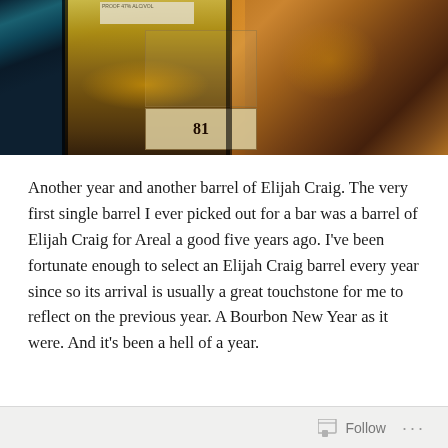[Figure (photo): Close-up photo of whiskey/bourbon bottles with amber and dark tones, showing bottle labels including what appears to be the number 81, shot from above looking down at bottles arranged together]
Another year and another barrel of Elijah Craig. The very first single barrel I ever picked out for a bar was a barrel of Elijah Craig for Areal a good five years ago. I've been fortunate enough to select an Elijah Craig barrel every year since so its arrival is usually a great touchstone for me to reflect on the previous year. A Bourbon New Year as it were. And it's been a hell of a year.
Follow ...